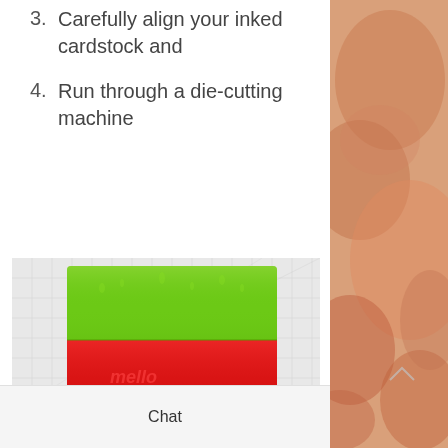3. Carefully align your inked cardstock and
4. Run through a die-cutting machine
[Figure (photo): Photo of green and red glossy material/film layered on a grid cutting mat, showing embossed text on the red portion.]
Chat